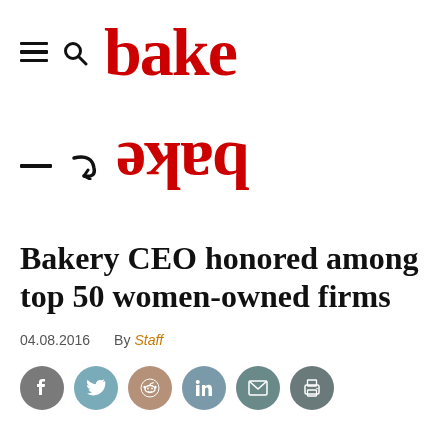bake
[Figure (logo): Reflected/inverted bake logo with hamburger menu and search icon]
Bakery CEO honored among top 50 women-owned firms
04.08.2016    By Staff
[Figure (infographic): Social sharing icons: Facebook, Twitter, Reddit, LinkedIn, Email, Print]